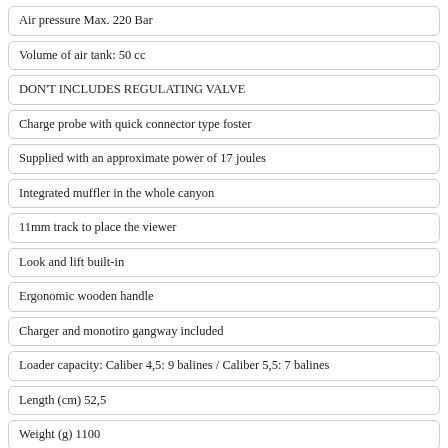Air pressure Max. 220 Bar
Volume of air tank: 50 cc
DON'T INCLUDES REGULATING VALVE
Charge probe with quick connector type foster
Supplied with an approximate power of 17 joules
Integrated muffler in the whole canyon
11mm track to place the viewer
Look and lift built-in
Ergonomic wooden handle
Charger and monotiro gangway included
Loader capacity: Caliber 4,5: 9 balines / Caliber 5,5: 7 balines
Length (cm) 52,5
Weight (g) 1100
Contact by Whataspp